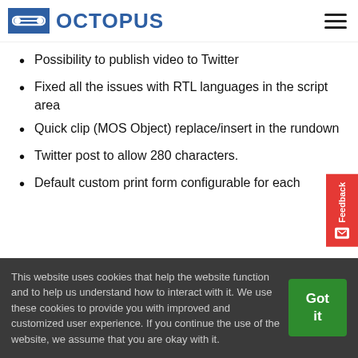OCTOPUS
Possibility to publish video to Twitter
Fixed all the issues with RTL languages in the script area
Quick clip (MOS Object) replace/insert in the rundown
Twitter post to allow 280 characters.
Default custom print form configurable for each
This website uses cookies that help the website function and to help us understand how to interact with it. We use these cookies to provide you with improved and customized user experience. If you continue the use of the website, we assume that you are okay with it.